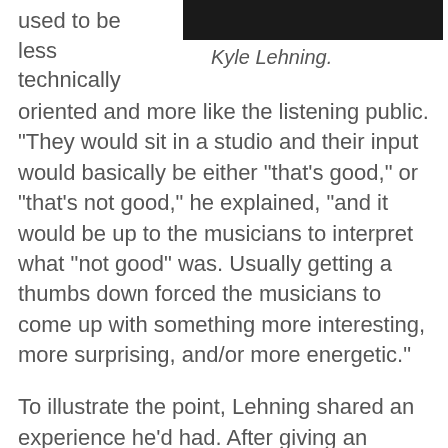[Figure (photo): Dark photograph at top right of the page, partially visible, appears to be a portrait photo]
Kyle Lehning.
used to be less technically oriented and more like the listening public. “They would sit in a studio and their input would basically be either “that’s good,” or “that’s not good,” he explained, “and it would be up to the musicians to interpret what “not good” was. Usually getting a thumbs down forced the musicians to come up with something more interesting, more surprising, and/or more energetic.”
To illustrate the point, Lehning shared an experience he’d had. After giving an address to an undergraduate college class about record